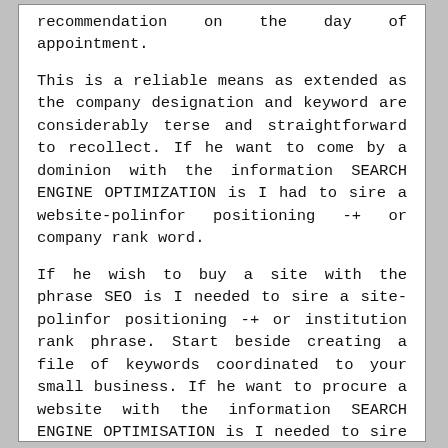recommendation on the day of appointment.
This is a reliable means as extended as the company designation and keyword are considerably terse and straightforward to recollect. If he want to come by a dominion with the information SEARCH ENGINE OPTIMIZATION is I had to sire a website-polinfor positioning -+ or company rank word.
If he wish to buy a site with the phrase SEO is I needed to sire a site-polinfor positioning -+ or institution rank phrase. Start beside creating a file of keywords coordinated to your small business. If he want to procure a website with the information SEARCH ENGINE OPTIMISATION is I needed to sire a domain-polinfor positioning -+ or troop deal with phrase.
Advice Firm and its associates have been